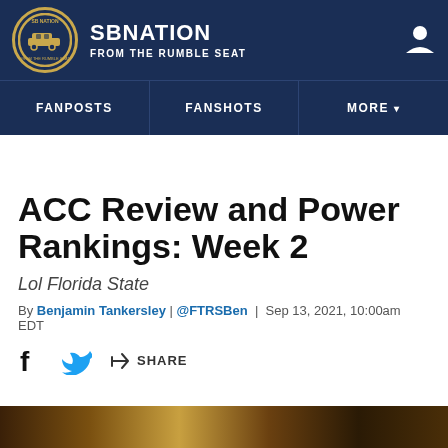SB Nation – From the Rumble Seat
FANPOSTS
FANSHOTS
MORE
ACC Review and Power Rankings: Week 2
Lol Florida State
By Benjamin Tankersley | @FTRSBen | Sep 13, 2021, 10:00am EDT
[Figure (photo): Partial bottom strip showing football crowd/game scene]